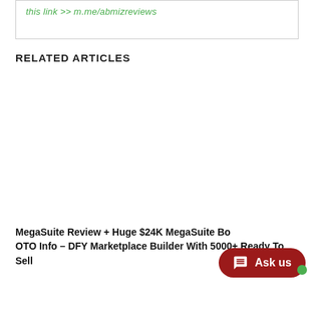this link >> m.me/abmizreviews
RELATED ARTICLES
MegaSuite Review + Huge $24K MegaSuite Bonus + OTO Info – DFY Marketplace Builder With 5000+ Ready To Sell